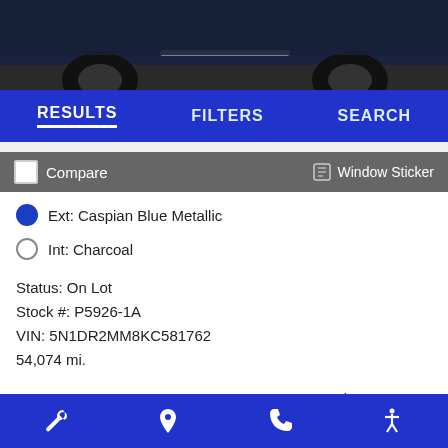[Figure (photo): Partial view of a dark blue/black SUV from the rear, showing tires and lower body, shot in a showroom setting]
RESULTS   FILTERS   SEARCH
Compare   Window Sticker
Ext: Caspian Blue Metallic
Int: Charcoal
Status: On Lot
Stock #: P5926-1A
VIN: 5N1DR2MM8KC581762
54,074 mi.
Live Market Price:   $31,995
Trade or Sell?   Start Pre-Order
wrench icon   location icon   phone icon   accessibility icon